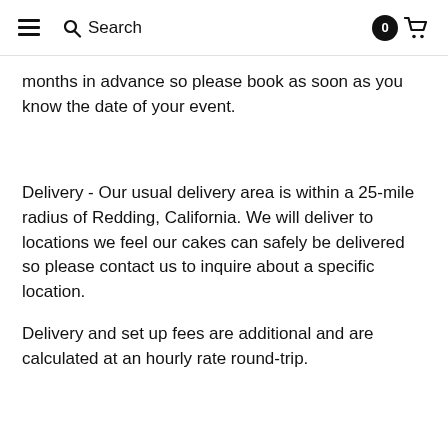≡  🔍 Search  0 🛒
months in advance so please book as soon as you know the date of your event.
Delivery - Our usual delivery area is within a 25-mile radius of Redding, California. We will deliver to locations we feel our cakes can safely be delivered so please contact us to inquire about a specific location.
Delivery and set up fees are additional and are calculated at an hourly rate round-trip.